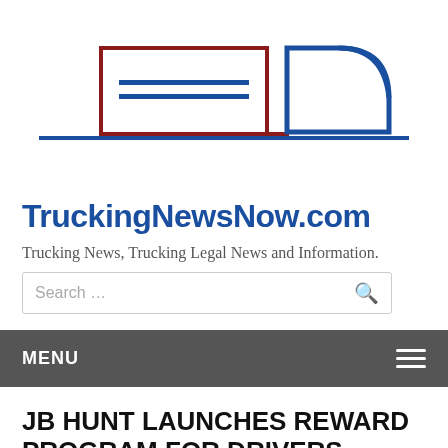[Figure (logo): TruckingNewsNow.com logo with a stylized truck graphic in dark red and dark blue outline, with horizontal lines representing a truck cab and trailer, and a blue truck profile shape on the right]
TruckingNewsNow.com
Trucking News, Trucking Legal News and Information.
Search …
MENU
JB HUNT LAUNCHES REWARD PROGRAM FOR DRIVERS